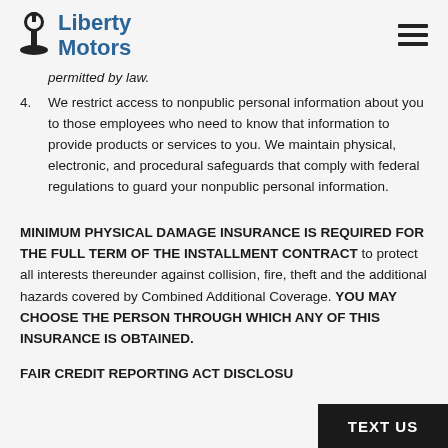Liberty Motors
permitted by law.
4. We restrict access to nonpublic personal information about you to those employees who need to know that information to provide products or services to you. We maintain physical, electronic, and procedural safeguards that comply with federal regulations to guard your nonpublic personal information.
MINIMUM PHYSICAL DAMAGE INSURANCE IS REQUIRED FOR THE FULL TERM OF THE INSTALLMENT CONTRACT to protect all interests thereunder against collision, fire, theft and the additional hazards covered by Combined Additional Coverage. YOU MAY CHOOSE THE PERSON THROUGH WHICH ANY OF THIS INSURANCE IS OBTAINED.
FAIR CREDIT REPORTING ACT DISCLOSURES